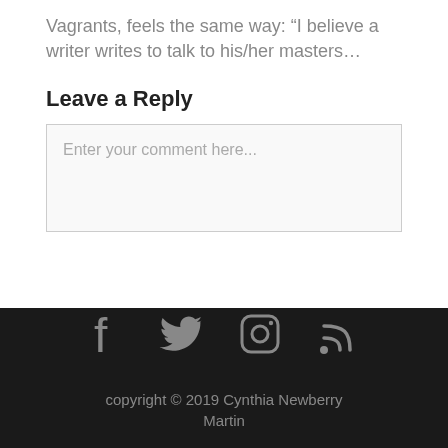Vagrants, feels the same way: “I believe a writer writes to talk to his/her masters…
Leave a Reply
Enter your comment here...
[Figure (infographic): Social media icons: Facebook, Twitter, Instagram, RSS feed]
copyright © 2019 Cynthia Newberry Martin